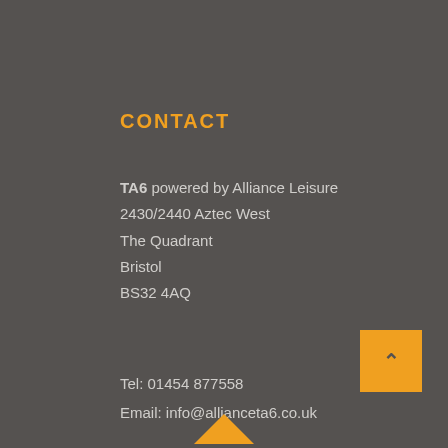CONTACT
TA6 powered by Alliance Leisure
2430/2440 Aztec West
The Quadrant
Bristol
BS32 4AQ
Tel: 01454 877558
Email: info@allianceta6.co.uk
Visit out contact page to send us a message